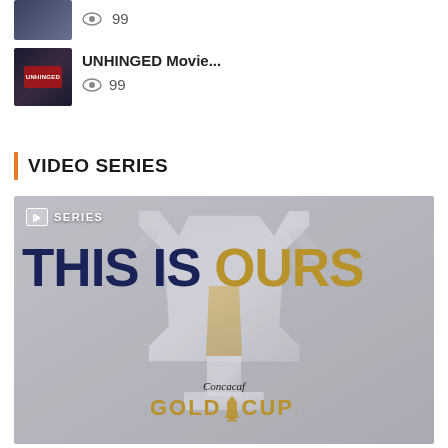[Figure (screenshot): Small video thumbnail (dark image) with eye icon and view count 99]
00:33  99
[Figure (screenshot): UNHINGED Movie thumbnail with dark background]
UNHINGED Movie...
99
VIDEO SERIES
[Figure (screenshot): Video series card: 'THIS IS OURS' Concacaf Gold Cup promotional image with trophy background and SERIES badge]